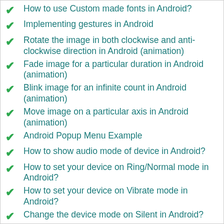How to use Custom made fonts in Android?
Implementing gestures in Android
Rotate the image in both clockwise and anti-clockwise direction in Android (animation)
Fade image for a particular duration in Android (animation)
Blink image for an infinite count in Android (animation)
Move image on a particular axis in Android (animation)
Android Popup Menu Example
How to show audio mode of device in Android?
How to set your device on Ring/Normal mode in Android?
How to set your device on Vibrate mode in Android?
Change the device mode on Silent in Android?
Implement auto complete in Android
Generate backup on Google backup services in Android
How to check and turn on the device Bluetooth in Android?